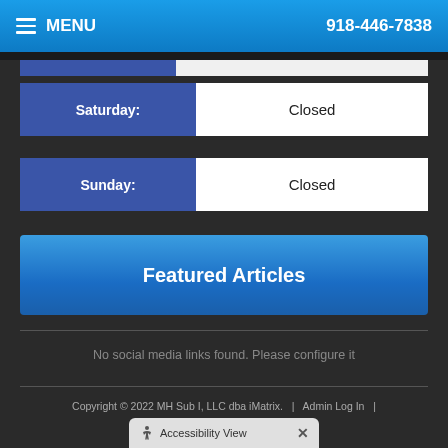MENU   918-446-7838
| Day | Hours |
| --- | --- |
| Saturday: | Closed |
| Sunday: | Closed |
Featured Articles
No social media links found. Please configure it
Copyright © 2022 MH Sub I, LLC dba iMatrix.  |  Admin Log In  |  Site Map